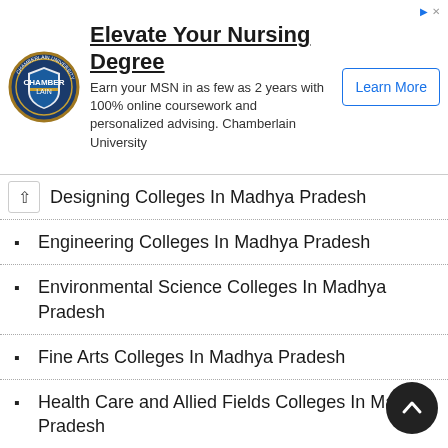[Figure (logo): Chamberlain University circular logo with blue and gold shield]
Elevate Your Nursing Degree
Earn your MSN in as few as 2 years with 100% online coursework and personalized advising. Chamberlain University
Learn More
Designing Colleges In Madhya Pradesh
Engineering Colleges In Madhya Pradesh
Environmental Science Colleges In Madhya Pradesh
Fine Arts Colleges In Madhya Pradesh
Health Care and Allied Fields Colleges In Madhya Pradesh
Home Science Colleges In Madhya Pradesh
Industrial/ Technical Training Colleges In Madhya Pradesh
Law Colleges In Madhya Pradesh
Library and Information Science Colleges In Madhya Pradesh
Management Colleges In Madhya Pradesh